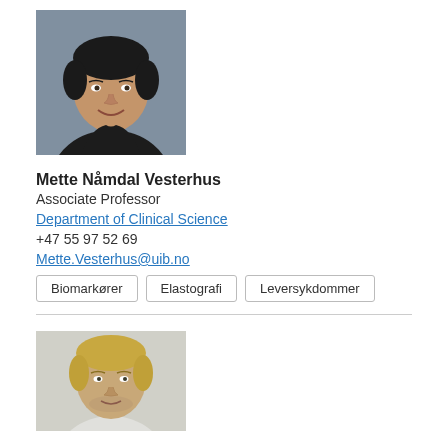[Figure (photo): Portrait photo of a woman with dark short hair, smiling, wearing a dark top]
Mette Nåmdal Vesterhus
Associate Professor
Department of Clinical Science
+47 55 97 52 69
Mette.Vesterhus@uib.no
Biomarkører
Elastografi
Leversykdommer
[Figure (photo): Portrait photo of a young man with blonde hair, wearing a light-colored top, cropped at bottom]